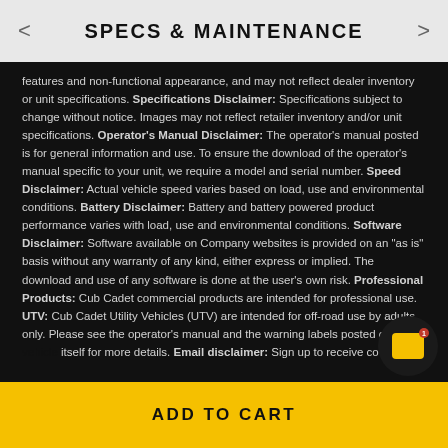SPECS & MAINTENANCE
features and non-functional appearance, and may not reflect dealer inventory or unit specifications. Specifications Disclaimer: Specifications subject to change without notice. Images may not reflect retailer inventory and/or unit specifications. Operator's Manual Disclaimer: The operator's manual posted is for general information and use. To ensure the download of the operator's manual specific to your unit, we require a model and serial number. Speed Disclaimer: Actual vehicle speed varies based on load, use and environmental conditions. Battery Disclaimer: Battery and battery powered product performance varies with load, use and environmental conditions. Software Disclaimer: Software available on Company websites is provided on an "as is" basis without any warranty of any kind, either express or implied. The download and use of any software is done at the user's own risk. Professional Products: Cub Cadet commercial products are intended for professional use. UTV: Cub Cadet Utility Vehicles (UTV) are intended for off-road use by adults only. Please see the operator's manual and the warning labels posted on the itself for more details. Email disclaimer: Sign up to receive co
ADD TO CART